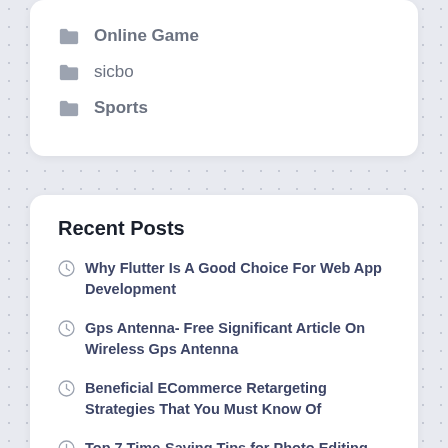Online Game
sicbo
Sports
Recent Posts
Why Flutter Is A Good Choice For Web App Development
Gps Antenna- Free Significant Article On Wireless Gps Antenna
Beneficial ECommerce Retargeting Strategies That You Must Know Of
Top 7 Time-Saving Tips for Photo Editing